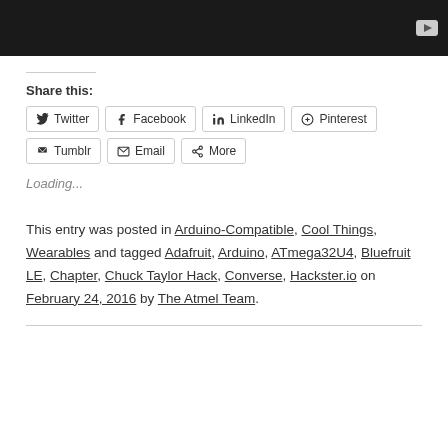[Figure (screenshot): Dark video player bar with YouTube play button icon in bottom right]
Share this:
Twitter  Facebook  LinkedIn  Pinterest  Tumblr  Email  More
Loading...
This entry was posted in Arduino-Compatible, Cool Things, Wearables and tagged Adafruit, Arduino, ATmega32U4, Bluefruit LE, Chapter, Chuck Taylor Hack, Converse, Hackster.io on February 24, 2016 by The Atmel Team.